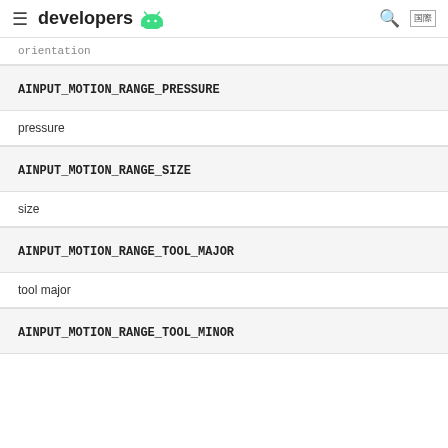developers
orientation
AINPUT_MOTION_RANGE_PRESSURE
pressure
AINPUT_MOTION_RANGE_SIZE
size
AINPUT_MOTION_RANGE_TOOL_MAJOR
tool major
AINPUT_MOTION_RANGE_TOOL_MINOR